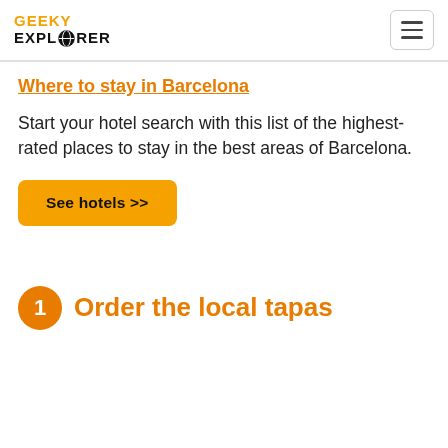GEEKY EXPLORER
Where to stay in Barcelona
Start your hotel search with this list of the highest-rated places to stay in the best areas of Barcelona.
See hotels >>
1 Order the local tapas